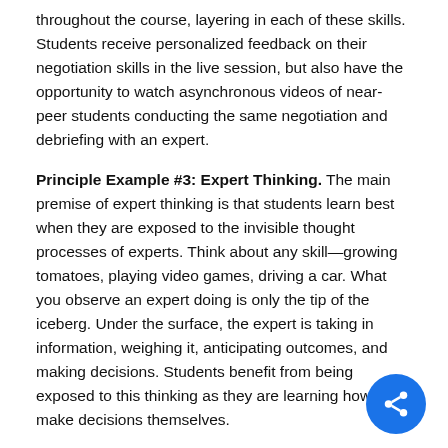throughout the course, layering in each of these skills. Students receive personalized feedback on their negotiation skills in the live session, but also have the opportunity to watch asynchronous videos of near-peer students conducting the same negotiation and debriefing with an expert.
Principle Example #3: Expert Thinking. The main premise of expert thinking is that students learn best when they are exposed to the invisible thought processes of experts. Think about any skill—growing tomatoes, playing video games, driving a car. What you observe an expert doing is only the tip of the iceberg. Under the surface, the expert is taking in information, weighing it, anticipating outcomes, and making decisions. Students benefit from being exposed to this thinking as they are learning how to make decisions themselves.
The art of negotiation is exceptionally complex. Every situation is different and you often have to make decisions